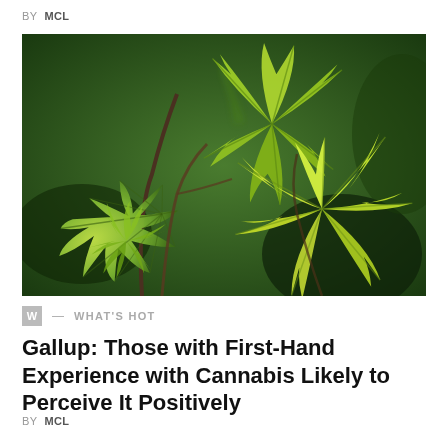BY MCL
[Figure (photo): Close-up photograph of green cannabis leaves with star-shaped leaf formations against a dark green blurred background.]
W — WHAT'S HOT
Gallup: Those with First-Hand Experience with Cannabis Likely to Perceive It Positively
BY MCL